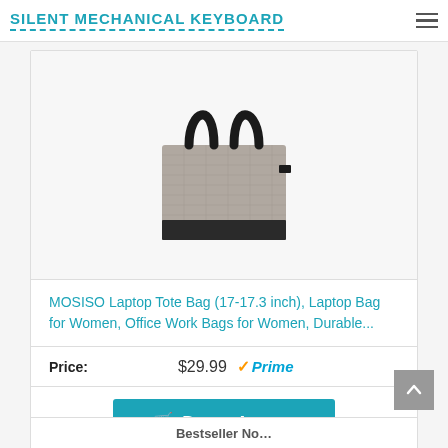SILENT MECHANICAL KEYBOARD
[Figure (photo): Grey and black laptop tote bag with black leather handles on a white background]
MOSISO Laptop Tote Bag (17-17.3 inch), Laptop Bag for Women, Office Work Bags for Women, Durable...
Price: $29.99 Prime
Buy on Amazon